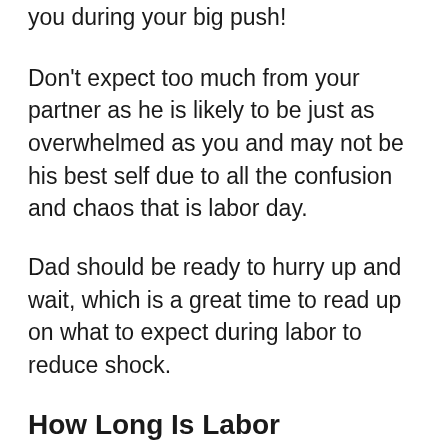you during your big push!
Don’t expect too much from your partner as he is likely to be just as overwhelmed as you and may not be his best self due to all the confusion and chaos that is labor day.
Dad should be ready to hurry up and wait, which is a great time to read up on what to expect during labor to reduce shock.
How Long Is Labor